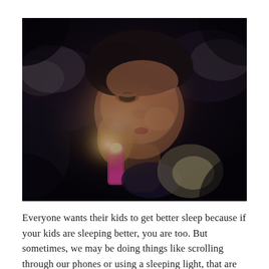[Figure (photo): A young child lying under blankets in the dark, holding a pink flashlight/torch close to their face, illuminating their features in the darkness. The image has a dark, moody tone with the warm glow of the flashlight as the primary light source.]
Everyone wants their kids to get better sleep because if your kids are sleeping better, you are too. But sometimes, we may be doing things like scrolling through our phones or using a sleeping light, that are keeping us from sleeping better and we don't even realize it. Turn Your